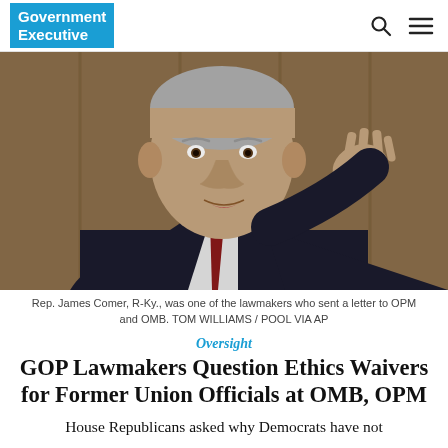Government Executive
[Figure (photo): Rep. James Comer, R-Ky., photographed at a congressional hearing, gesturing with his right hand, wearing a dark suit and red tie, with wood-paneled background.]
Rep. James Comer, R-Ky., was one of the lawmakers who sent a letter to OPM and OMB. TOM WILLIAMS / POOL VIA AP
Oversight
GOP Lawmakers Question Ethics Waivers for Former Union Officials at OMB, OPM
House Republicans asked why Democrats have not